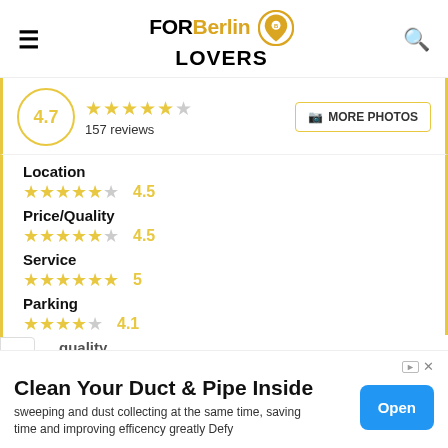FOR Berlin LOVERS
4.7 ★★★★½ 157 reviews
MORE PHOTOS
Location ★★★★½ 4.5
Price/Quality ★★★★½ 4.5
Service ★★★★★ 5
Parking ★★★★☆ 4.1
quality
Clean Your Duct & Pipe Inside
sweeping and dust collecting at the same time, saving time and improving efficency greatly Defy
Open